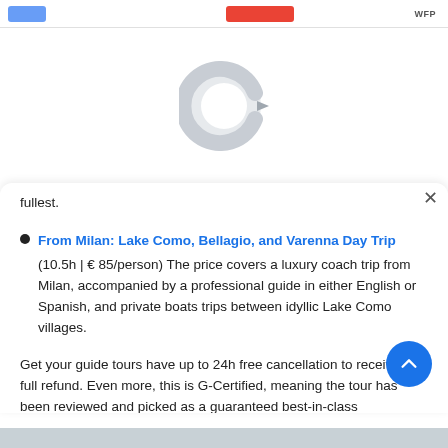WFP
[Figure (illustration): Loading spinner icon — a large grey letter C shape partially filled, resembling a circular loading indicator]
fullest.
From Milan: Lake Como, Bellagio, and Varenna Day Trip
(10.5h | € 85/person) The price covers a luxury coach trip from Milan, accompanied by a professional guide in either English or Spanish, and private boats trips between idyllic Lake Como villages.
Get your guide tours have up to 24h free cancellation to receive a full refund. Even more, this is G-Certified, meaning the tour has been reviewed and picked as a guaranteed best-in-class experience.